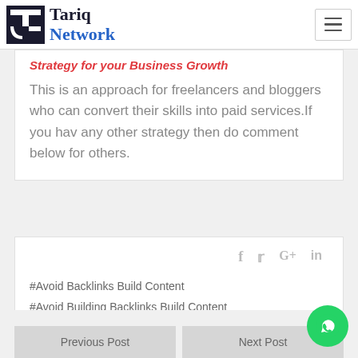Tariq Network
Strategy for your Business Growth
This is an approach for freelancers and bloggers who can convert their skills into paid services.If you hav any other strategy then do comment below for others.
#Avoid Backlinks Build Content  #Avoid Building Backlinks Build Content  #Backlinks Strategy  #Content Writing Strategy